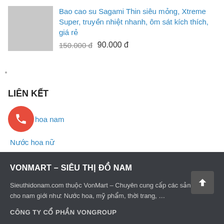[Figure (photo): Gray placeholder product image thumbnail]
Bao cao su Sagami Thin siêu mỏng, Xtreme Super, truyền nhiệt nhanh, ôm sát kích thích, giá rẻ
150.000 đ 90.000 đ
LIÊN KẾT
[Figure (illustration): Red circular phone/call icon]
hoa nam
Nước hoa nữ
VONMART – SIÊU THỊ ĐỒ NAM
Sieuthidonam.com thuộc VonMart – Chuyên cung cấp các sản phẩm cho nam giới như: Nước hoa, mỹ phẩm, thời trang, …
CÔNG TY CỔ PHẦN VONGROUP